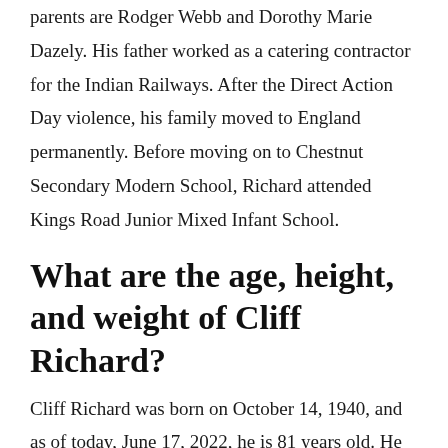parents are Rodger Webb and Dorothy Marie Dazely. His father worked as a catering contractor for the Indian Railways. After the Direct Action Day violence, his family moved to England permanently. Before moving on to Chestnut Secondary Modern School, Richard attended Kings Road Junior Mixed Infant School.
What are the age, height, and weight of Cliff Richard?
Cliff Richard was born on October 14, 1940, and as of today, June 17, 2022, he is 81 years old. He stands 1.79 meters tall and weighs 80 kilograms.
Career